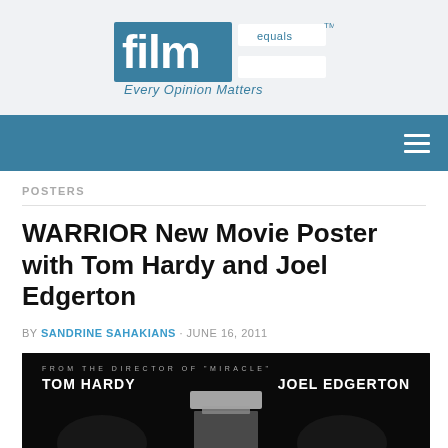[Figure (logo): Film Equals logo with tagline 'Every Opinion Matters']
[Figure (screenshot): Navigation bar with hamburger menu icon on blue background]
POSTERS
WARRIOR New Movie Poster with Tom Hardy and Joel Edgerton
BY SANDRINE SAHAKIANS · JUNE 16, 2011
[Figure (photo): Movie poster for WARRIOR showing Tom Hardy and Joel Edgerton with text 'FROM THE DIRECTOR OF MIRACLE']